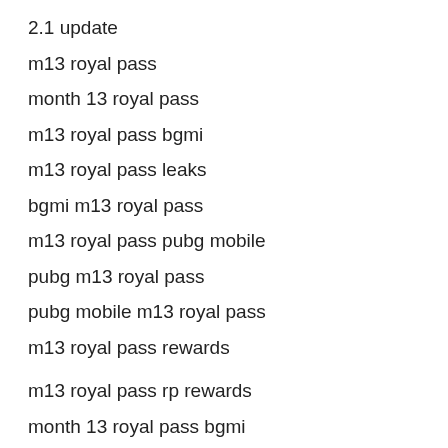2.1 update
m13 royal pass
month 13 royal pass
m13 royal pass bgmi
m13 royal pass leaks
bgmi m13 royal pass
m13 royal pass pubg mobile
pubg m13 royal pass
pubg mobile m13 royal pass
m13 royal pass rewards
m13 royal pass rp rewards
month 13 royal pass bgmi
royal pass m13
bgmi month 13 royal pass
month 13 royal pass pubg mobile